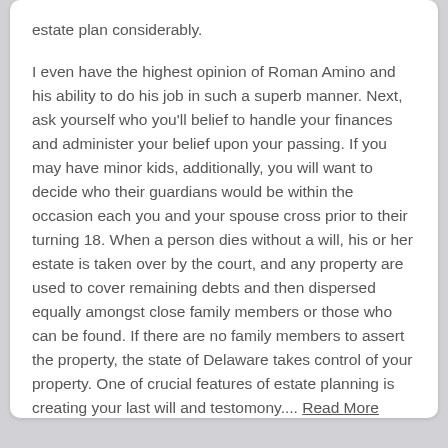estate plan considerably.

I even have the highest opinion of Roman Amino and his ability to do his job in such a superb manner. Next, ask yourself who you'll belief to handle your finances and administer your belief upon your passing. If you may have minor kids, additionally, you will want to decide who their guardians would be within the occasion each you and your spouse cross prior to their turning 18. When a person dies without a will, his or her estate is taken over by the court, and any property are used to cover remaining debts and then dispersed equally amongst close family members or those who can be found. If there are no family members to assert the property, the state of Delaware takes control of your property. One of crucial features of estate planning is creating your last will and testomony.... Read More